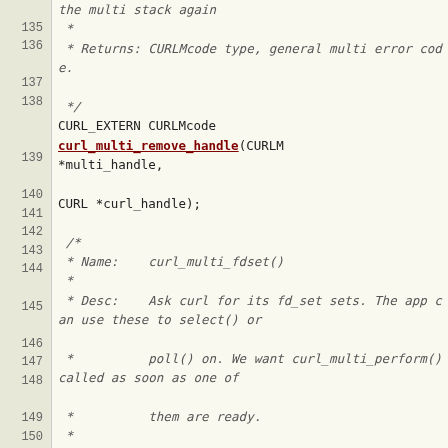[Figure (screenshot): Source code viewer showing lines 135-150 of a C header file for libcurl, displaying curl_multi_remove_handle and curl_multi_fdset function declarations with comments, in a monospace code editor style with line numbers on the left.]